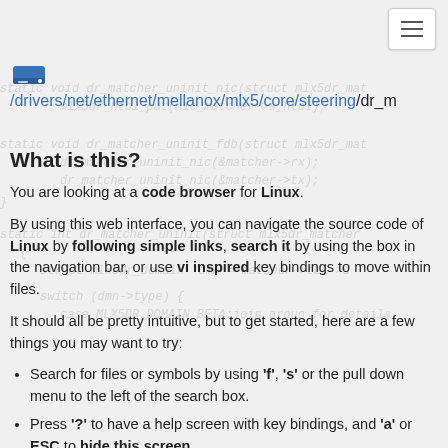[Figure (logo): Hard drive icon followed by file path /drivers/net/ethernet/mellanox/mlx5/core/steering/dr_m...]
What is this?
You are looking at a code browser for Linux.
By using this web interface, you can navigate the source code of Linux by following simple links, search it by using the box in the navigation bar, or use vi inspired key bindings to move within files.
It should all be pretty intuitive, but to get started, here are a few things you may want to try:
Search for files or symbols by using 'f', 's' or the pull down menu to the left of the search box.
Press '?' to have a help screen with key bindings, and 'a' or ESC to hide this screen.
Try to drag variables or functions to get more details about them.
This site was generated via sbexr, which uses LLVM and clang to parse and index the code.